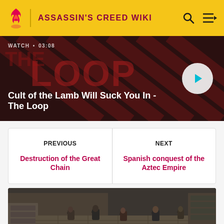ASSASSIN'S CREED WIKI
[Figure (screenshot): Video thumbnail for 'Cult of the Lamb Will Suck You In - The Loop' with WATCH label and 03:08 duration, featuring dark striped background with play button]
WATCH • 03:08
Cult of the Lamb Will Suck You In - The Loop
| PREVIOUS | NEXT |
| --- | --- |
| Destruction of the Great Chain | Spanish conquest of the Aztec Empire |
[Figure (screenshot): In-game screenshot showing figures walking through a stone courtyard or plaza, viewed from behind]